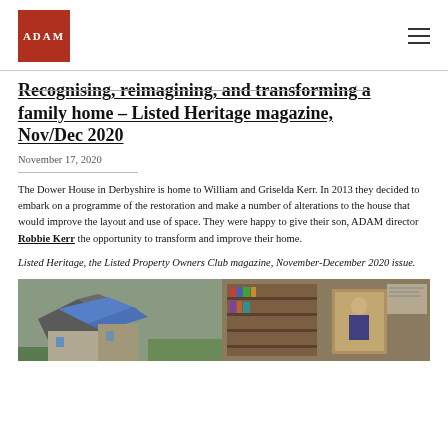[Figure (logo): ADAM Architecture red square logo with white ADAM text]
Recognising, reimagining, and transforming a family home – Listed Heritage magazine, Nov/Dec 2020
November 17, 2020
The Dower House in Derbyshire is home to William and Griselda Kerr. In 2013 they decided to embark on a programme of the restoration and make a number of alterations to the house that would improve the layout and use of space. They were happy to give their son, ADAM director Robbie Kerr the opportunity to transform and improve their home.
Listed Heritage, the Listed Property Owners Club magazine, November-December 2020 issue.
[Figure (photo): Two photographs side by side: left shows aerial view of Dower House in Derbyshire under construction with blue tarpaulin on roof; right shows interior bookcase/shelving with portrait painting.]